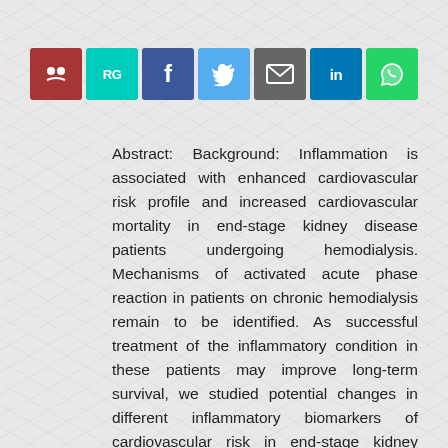[Figure (other): Social sharing buttons row: Mendeley (dark red), ResearchGate (teal), Facebook (blue), Twitter (light blue), Email (grey), LinkedIn (blue), WhatsApp (green)]
Abstract: Background: Inflammation is associated with enhanced cardiovascular risk profile and increased cardiovascular mortality in end-stage kidney disease patients undergoing hemodialysis. Mechanisms of activated acute phase reaction in patients on chronic hemodialysis remain to be identified. As successful treatment of the inflammatory condition in these patients may improve long-term survival, we studied potential changes in different inflammatory biomarkers of cardiovascular risk in end-stage kidney disease patients after a mid-week hemodialysis session. Methods: Inflammatory biomarkers of cardiovascular risk (cystatin-C, homocysteine, C-reactive protein, procalcitonin, pentraxin-3, serum amyloid-A) and atherogenic plasma lipoproteins (Lipoprotein(a),